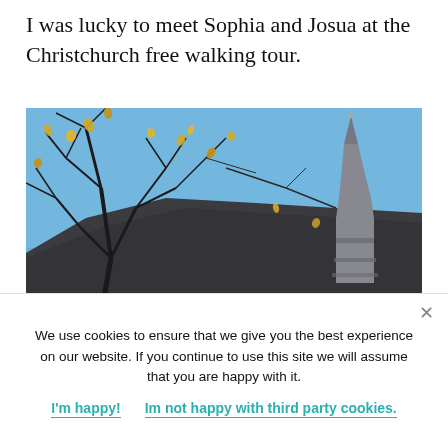I was lucky to meet Sophia and Josua at the Christchurch free walking tour.
[Figure (photo): Outdoor photo looking up at a Gothic church steeple/spire on the right side, with bare tree branches in the upper left against a bright blue sky. The dark slate roof of the church is visible at the bottom.]
We use cookies to ensure that we give you the best experience on our website. If you continue to use this site we will assume that you are happy with it.
I'm happy!    Im not happy with third party cookies.